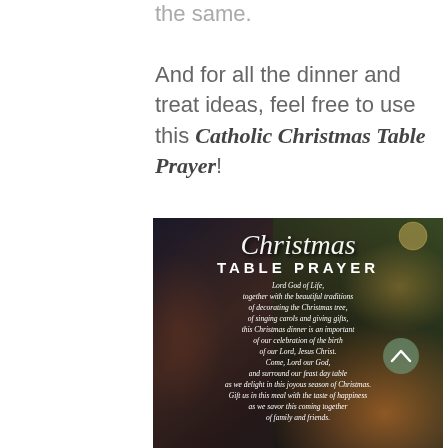the same.
And for all the dinner and treat ideas, feel free to use this Catholic Christmas Table Prayer!
[Figure (illustration): Christmas Table Prayer decorative image with dark background showing a Christmas tree with lights and ornaments. Text overlaid reads: 'Christmas TABLE PRAYER Lord God of Life, together with the beautiful traditions of decorating the Christmas tree, of singing carols and giving gifts, this Christmas dinner is an important of our celebration of the birth of our Lord, Jesus Christ. Come, Lord our God, and surround our feast day table as we delight in this joyous season of Christmas. Gift us in this meal with the taste of happiness as we savor this coming together of family and friends.']